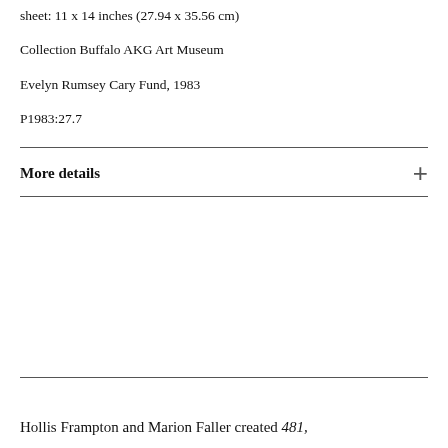sheet: 11 x 14 inches (27.94 x 35.56 cm)
Collection Buffalo AKG Art Museum
Evelyn Rumsey Cary Fund, 1983
P1983:27.7
More details
Hollis Frampton and Marion Faller created 481,